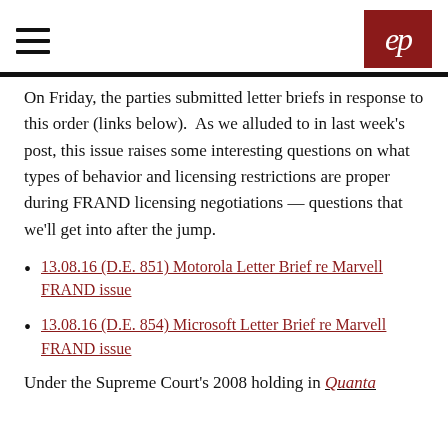ep (logo)
On Friday, the parties submitted letter briefs in response to this order (links below).  As we alluded to in last week's post, this issue raises some interesting questions on what types of behavior and licensing restrictions are proper during FRAND licensing negotiations — questions that we'll get into after the jump.
13.08.16 (D.E. 851) Motorola Letter Brief re Marvell FRAND issue
13.08.16 (D.E. 854) Microsoft Letter Brief re Marvell FRAND issue
Under the Supreme Court's 2008 holding in Quanta